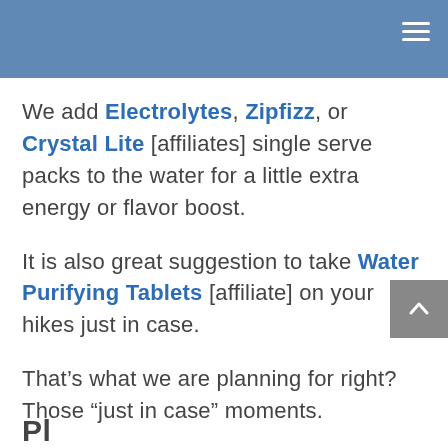We add Electrolytes, Zipfizz, or Crystal Lite [affiliates] single serve packs to the water for a little extra energy or flavor boost.
It is also great suggestion to take Water Purifying Tablets [affiliate] on your hikes just in case.
That’s what we are planning for right? Those “just in case” moments.
Pl...